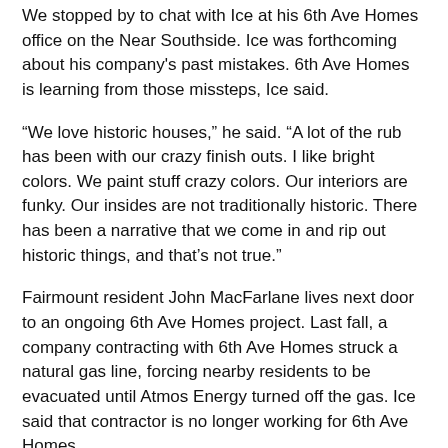We stopped by to chat with Ice at his 6th Ave Homes office on the Near Southside. Ice was forthcoming about his company's past mistakes. 6th Ave Homes is learning from those missteps, Ice said.
“We love historic houses,” he said. “A lot of the rub has been with our crazy finish outs. I like bright colors. We paint stuff crazy colors. Our interiors are funky. Our insides are not traditionally historic. There has been a narrative that we come in and rip out historic things, and that’s not true.”
Fairmount resident John MacFarlane lives next door to an ongoing 6th Ave Homes project. Last fall, a company contracting with 6th Ave Homes struck a natural gas line, forcing nearby residents to be evacuated until Atmos Energy turned off the gas. Ice said that contractor is no longer working for 6th Ave Homes.
“We’ve hired great contractors, and we’ve hired some really bad ones,” Ice said.